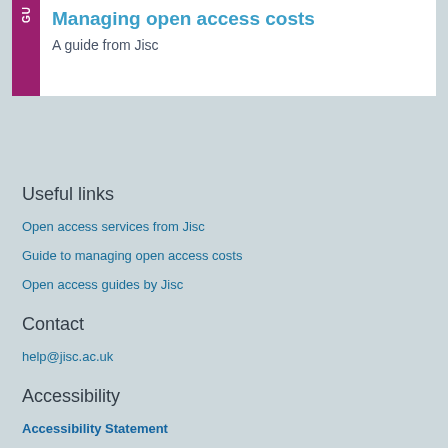Managing open access costs
A guide from Jisc
Useful links
Open access services from Jisc
Guide to managing open access costs
Open access guides by Jisc
Contact
help@jisc.ac.uk
Accessibility
Accessibility Statement